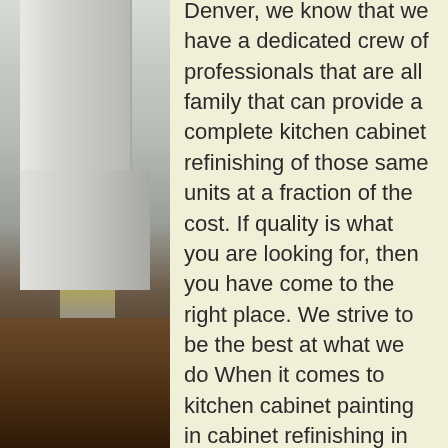[Figure (photo): Interior kitchen photo showing white cabinets on the left, a floral curtain or towel hanging, and dark hardwood floor at the bottom.]
Denver, we know that we have a dedicated crew of professionals that are all family that can provide a complete kitchen cabinet refinishing of those same units at a fraction of the cost. If quality is what you are looking for, then you have come to the right place. We strive to be the best at what we do When it comes to kitchen cabinet painting in cabinet refinishing in Denver, Colorado. Done correctly, the outcome of refinishing cabinet units is often such a drastic change that customers don't recognize their own home! We use only the best techniques, practices, and materials to